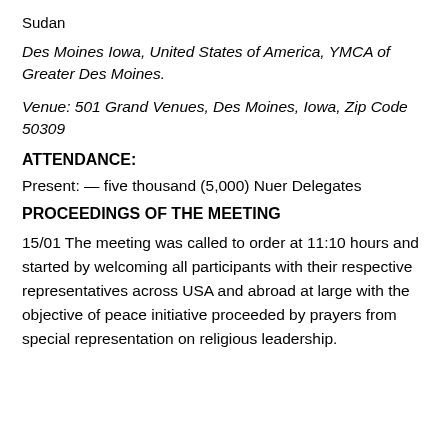Sudan
Des Moines Iowa, United States of America, YMCA of Greater Des Moines.
Venue: 501 Grand Venues, Des Moines, Iowa, Zip Code 50309
ATTENDANCE:
Present: — five thousand (5,000) Nuer Delegates
PROCEEDINGS OF THE MEETING
15/01 The meeting was called to order at 11:10 hours and started by welcoming all participants with their respective representatives across USA and abroad at large with the objective of peace initiative proceeded by prayers from special representation on religious leadership.